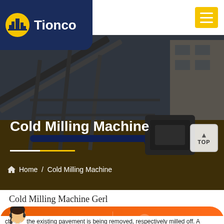[Figure (screenshot): Tionco company logo with dark blue background, golden building icon and white text 'Tionco']
[Figure (photo): Industrial construction/milling site with conveyor belts and heavy machinery, dark overlay]
Cold Milling Machine
Home / Cold Milling Machine
Cold Milling Machine Gerl
chisels, the existing pavement is being removed, respectively milled off. A